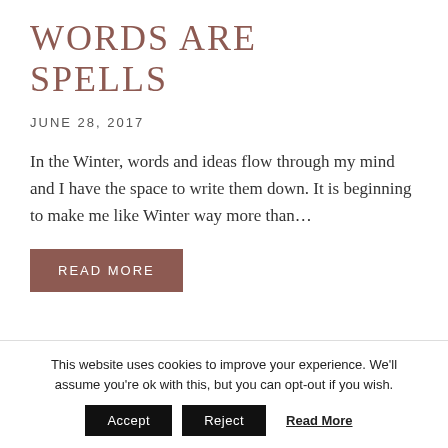WORDS ARE SPELLS
JUNE 28, 2017
In the Winter, words and ideas flow through my mind and I have the space to write them down. It is beginning to make me like Winter way more than…
READ MORE
This website uses cookies to improve your experience. We'll assume you're ok with this, but you can opt-out if you wish.
Accept  Reject  Read More